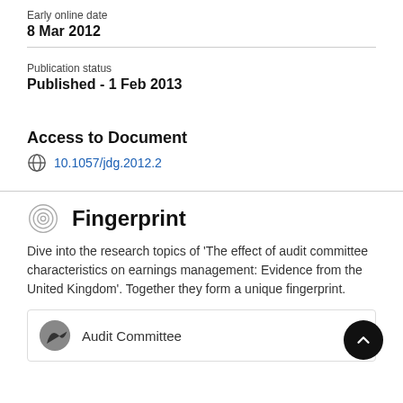Early online date
8 Mar 2012
Publication status
Published - 1 Feb 2013
Access to Document
10.1057/jdg.2012.2
Fingerprint
Dive into the research topics of 'The effect of audit committee characteristics on earnings management: Evidence from the United Kingdom'. Together they form a unique fingerprint.
Audit Committee